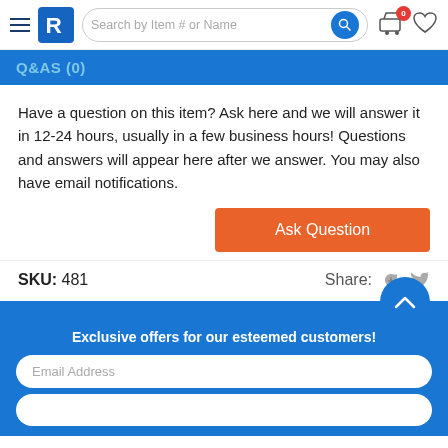Search by Item # or Name
Q&AS (0)
Have a question on this item? Ask here and we will answer it in 12-24 hours, usually in a few business hours! Questions and answers will appear here after we answer. You may also have email notifications.
Ask Question
SKU: 481
Share:
Exclusive offers for our esteemed customers!
Email Address